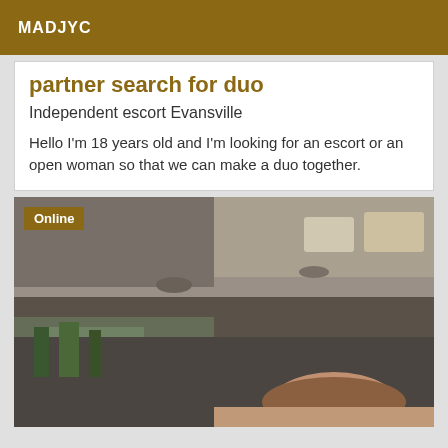MADJYC
partner search for duo
Independent escort Evansville
Hello I'm 18 years old and I'm looking for an escort or an open woman so that we can make a duo together.
[Figure (photo): Photo taken from inside a car, showing the car interior ceiling and dashboard area, with a person's head visible at the bottom. An 'Online' badge overlays the top-left corner.]